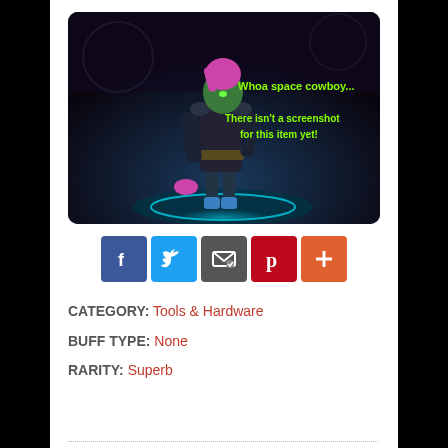[Figure (screenshot): Video game screenshot showing a character with pink hair wearing dark armor, standing in a sci-fi environment. Text overlay in green reads: 'Whoa space cowboy... There isn't a screenshot for this item yet!']
[Figure (other): Social sharing icons row: Facebook (blue), Twitter (light blue), Email/Envelope (gray), Pinterest (red), Plus/More (orange-red)]
CATEGORY: Tools & Hardware
BUFF TYPE: None
RARITY: Superb